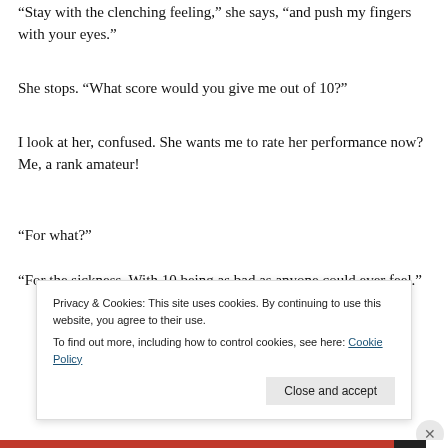“Stay with the clenching feeling,” she says, “and push my fingers with your eyes.”
She stops. “What score would you give me out of 10?”
I look at her, confused. She wants me to rate her performance now? Me, a rank amateur!
“For what?”
“For the sickness. With 10 being as bad as anyone could ever feel.”
Privacy & Cookies: This site uses cookies. By continuing to use this website, you agree to their use.
To find out more, including how to control cookies, see here: Cookie Policy